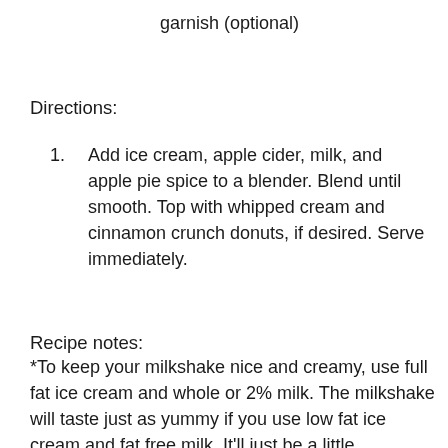garnish (optional)
Directions:
1.  Add ice cream, apple cider, milk, and apple pie spice to a blender. Blend until smooth. Top with whipped cream and cinnamon crunch donuts, if desired. Serve immediately.
Recipe notes:
*To keep your milkshake nice and creamy, use full fat ice cream and whole or 2% milk. The milkshake will taste just as yummy if you use low fat ice cream and fat free milk. It'll just be a little